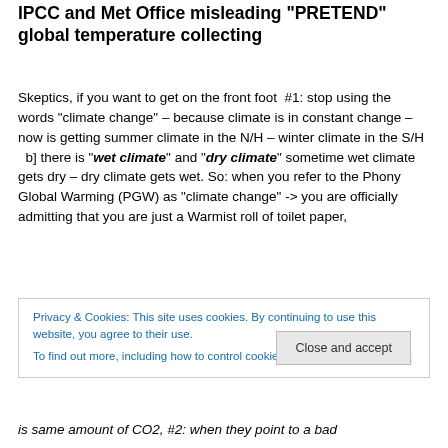IPCC and Met Office misleading "PRETEND" global temperature collecting
Skeptics, if you want to get on the front foot  #1: stop using the words "climate change" – because climate is in constant change – now is getting summer climate in the N/H – winter climate in the S/H   b] there is "wet climate" and "dry climate" sometime wet climate gets dry – dry climate gets wet. So: when you refer to the Phony Global Warming (PGW) as "climate change" -> you are officially admitting that you are just a Warmist roll of toilet paper,
Privacy & Cookies: This site uses cookies. By continuing to use this website, you agree to their use.
To find out more, including how to control cookies, see here: Cookie Policy
is same amount of CO2, #2: when they point to a bad